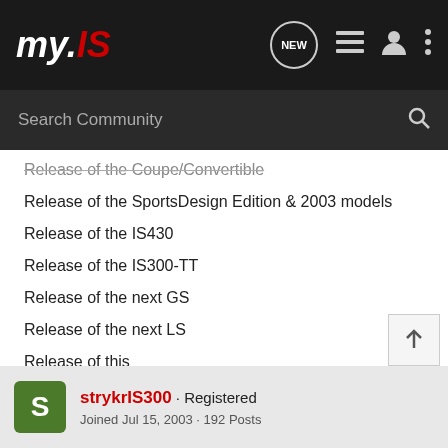my.IS
Release of the Coupe/Convertible
Release of the SportsDesign Edition & 2003 models
Release of the IS430
Release of the IS300-TT
Release of the next GS
Release of the next LS
Release of this
Release of that
Jeezus cant we stop for a few months?
strykrIS300 · Registered · Joined Jul 15, 2003 · 192 Posts